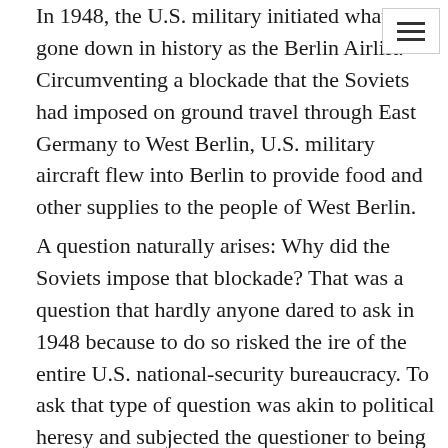In 1948, the U.S. military initiated what has gone down in history as the Berlin Airlift. Circumventing a blockade that the Soviets had imposed on ground travel through East Germany to West Berlin, U.S. military aircraft flew into Berlin to provide food and other supplies to the people of West Berlin.
A question naturally arises: Why did the Soviets impose that blockade? That was a question that hardly anyone dared to ask in 1948 because to do so risked the ire of the entire U.S. national-security bureaucracy. To ask that type of question was akin to political heresy and subjected the questioner to being labeled a communist or a communist sympathizer. Americans were expected to blindly damn the communists and support the troops.